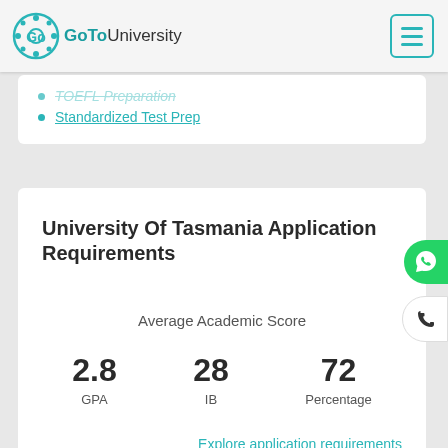GoTo University
TOEFL Preparation
Standardized Test Prep
University Of Tasmania Application Requirements
Average Academic Score
2.8
GPA
28
IB
72
Percentage
Explore application requirements